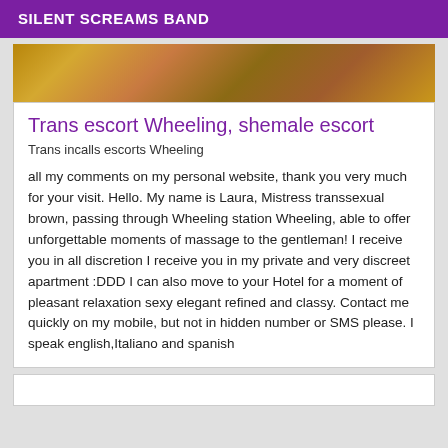SILENT SCREAMS BAND
[Figure (photo): Close-up photo of golden-brown textured surface, likely autumn leaves or natural material]
Trans escort Wheeling, shemale escort
Trans incalls escorts Wheeling
all my comments on my personal website, thank you very much for your visit. Hello. My name is Laura, Mistress transsexual brown, passing through Wheeling station Wheeling, able to offer unforgettable moments of massage to the gentleman! I receive you in all discretion I receive you in my private and very discreet apartment :DDD I can also move to your Hotel for a moment of pleasant relaxation sexy elegant refined and classy. Contact me quickly on my mobile, but not in hidden number or SMS please. I speak english,Italiano and spanish